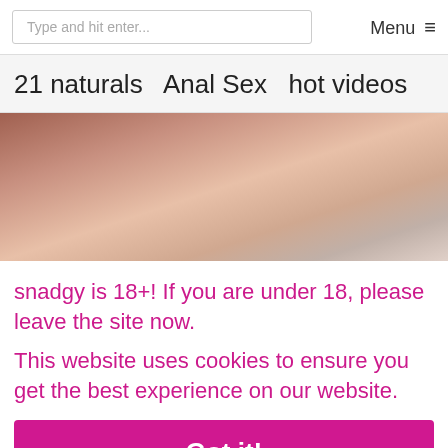Type and hit enter...  Menu ≡
21 naturals  Anal Sex  hot videos
[Figure (photo): Cropped intimate photo of two people]
snadgy is 18+! If you are under 18, please leave the site now.
This website uses cookies to ensure you get the best experience on our website.
Got it!